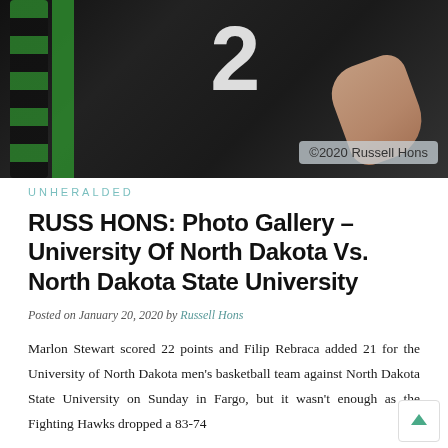[Figure (photo): Basketball player in black jersey with number 2 and green-black striped sleeve, reaching hand visible, dark background. Watermark reads ©2020 Russell Hons.]
UNHERALDED
RUSS HONS: Photo Gallery – University Of North Dakota Vs. North Dakota State University
Posted on January 20, 2020 by Russell Hons
Marlon Stewart scored 22 points and Filip Rebraca added 21 for the University of North Dakota men's basketball team against North Dakota State University on Sunday in Fargo, but it wasn't enough as the Fighting Hawks dropped a 83-74